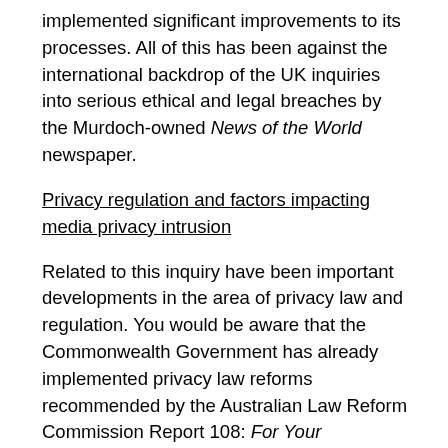implemented significant improvements to its processes. All of this has been against the international backdrop of the UK inquiries into serious ethical and legal breaches by the Murdoch-owned News of the World newspaper.
Privacy regulation and factors impacting media privacy intrusion
Related to this inquiry have been important developments in the area of privacy law and regulation. You would be aware that the Commonwealth Government has already implemented privacy law reforms recommended by the Australian Law Reform Commission Report 108: For Your Information: Australian Privacy Law and Practice (http://www.alrc.gov.au/publications/report-108). The Gillard Government is reported to be seriously considering a recommendation for a statutory tort of invasion of